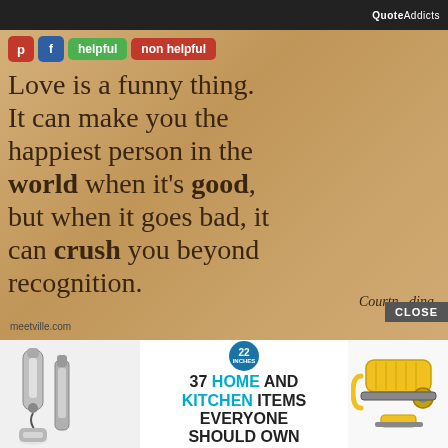QuoteAddicts
[Figure (illustration): Quote image on aged tan/brown paper texture with social sharing buttons (Pinterest, Facebook, helpful, non helpful). Text reads: Love is a funny thing. It can make you the happiest person in the world when it's good, but when it goes bad, it can crush you beyond recognition. — Courtn... dina. Meetville.com watermark at bottom left.]
37 HOME AND KITCHEN ITEMS EVERYONE SHOULD OWN
[Figure (photo): Advertisement showing kitchen tools: electric wine opener, vacuum sealer on left; yellow can opener / peeler tool on right. Badge showing '22 INCHES' in center.]